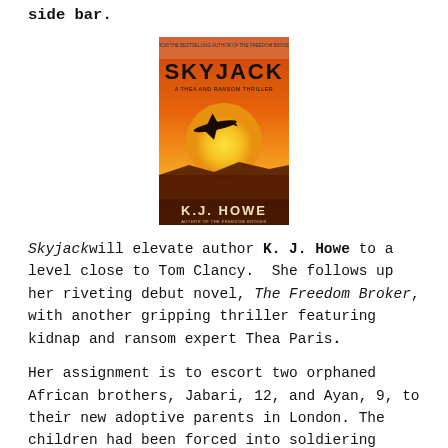side bar.
[Figure (photo): Book cover of 'Skyjack' by K.J. Howe — orange and yellow sunset background with a silhouette of a plane, bold black title text 'SKYJACK' at top and author name 'K.J. HOWE' at bottom.]
Skyjack will elevate author K. J. Howe to a level close to Tom Clancy.  She follows up her riveting debut novel, The Freedom Broker, with another gripping thriller featuring kidnap and ransom expert Thea Paris.
Her assignment is to escort two orphaned African brothers, Jabari, 12, and Ayan, 9, to their new adoptive parents in London. The children had been forced into soldiering after seeing their parents murdered by